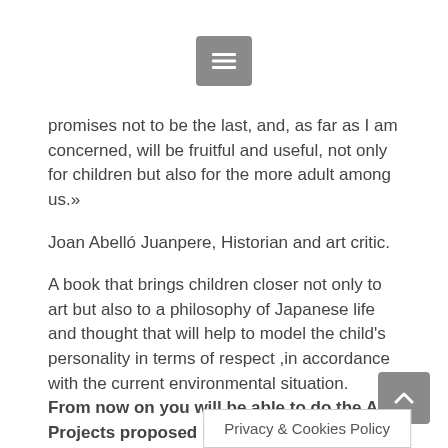[Figure (other): Gray hamburger menu button icon]
promises not to be the last, and, as far as I am concerned, will be fruitful and useful, not only for children but also for the more adult among us.»
Joan Abelló Juanpere, Historian and art critic.
A book that brings children closer not only to art but also to a philosophy of Japanese life and thought that will help to model the child's personality in terms of respect ,in accordance with the current environmental situation.
From now on you will be able to do the Art Projects proposed in the book 101 CREATIVITY PROJECTS. Vol.I with virtual support.
The COURSE is a VIRT...ntended to
[Figure (screenshot): Privacy & Cookies Policy banner overlay at bottom]
[Figure (other): Gray scroll-to-top arrow button]